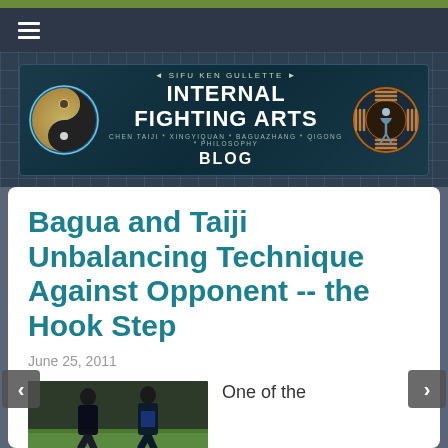Internal Fighting Arts Blog — Sifu Ken Gullette — Chen Taiji * Xingyiquan * Baguazhang * Qigong * Philosophy — BLOG
Bagua and Taiji Unbalancing Technique Against Opponent -- the Hook Step
June 25, 2011
[Figure (photo): Two martial artists practicing on grass, wearing dark uniforms, demonstrating a hook step technique]
One of the